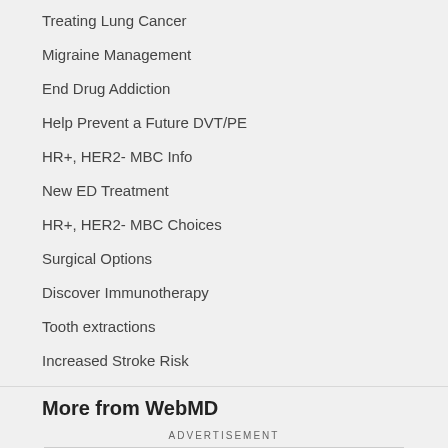Treating Lung Cancer
Migraine Management
End Drug Addiction
Help Prevent a Future DVT/PE
HR+, HER2- MBC Info
New ED Treatment
HR+, HER2- MBC Choices
Surgical Options
Discover Immunotherapy
Tooth extractions
Increased Stroke Risk
More from WebMD
ADVERTISEMENT
[Figure (other): CVS pharmacy advertisement banner: Get Back To Routine With CVS®]